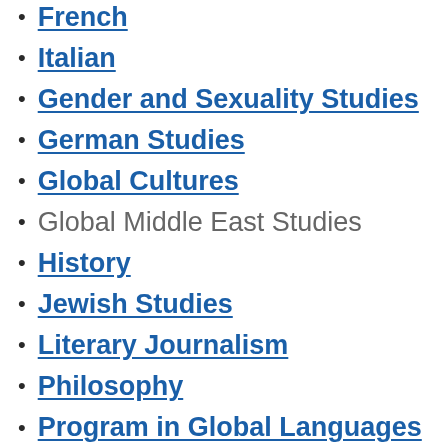French
Italian
Gender and Sexuality Studies
German Studies
Global Cultures
Global Middle East Studies
History
Jewish Studies
Literary Journalism
Philosophy
Program in Global Languages & Communication (Arabic, Hebrew, Persian, Tagalog, Vietnamese)
Religious Studies